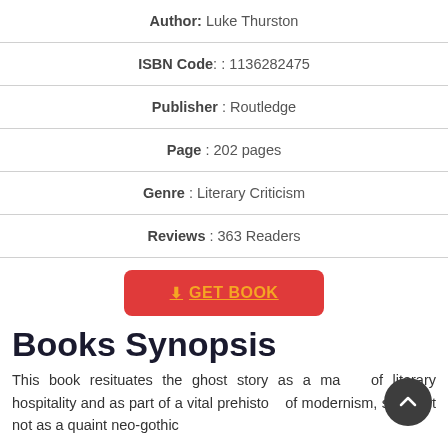Author: Luke Thurston
ISBN Code: : 1136282475
Publisher : Routledge
Page : 202 pages
Genre : Literary Criticism
Reviews : 363 Readers
GET BOOK
Books Synopsis
This book resituates the ghost story as a matter of literary hospitality and as part of a vital prehistory of modernism, seeing it not as a quaint neo-gothic